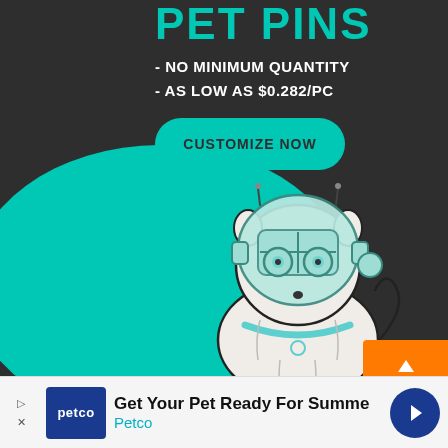PET PINS
- NO MINIMUM QUANTITY
- AS LOW AS $0.282/PC
CUSTOMIZE NOW
[Figure (illustration): Enamel pin of a white fluffy dog wearing a teal sci-fi helmet with goggles and a teal collar, set against a teal circular background on dark grey]
Get Your Pet Ready For Summe
Petco